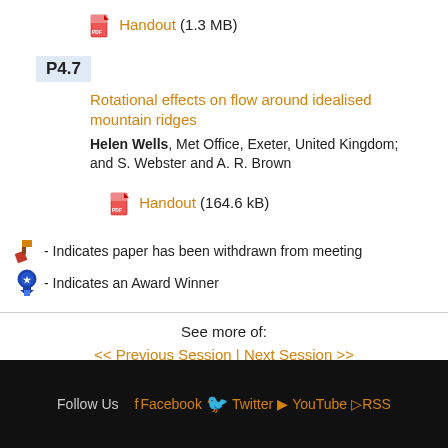Handout (1.3 MB)
P4.7
Rotational effects on flow around idealised mountain ridges
Helen Wells, Met Office, Exeter, United Kingdom; and S. Webster and A. R. Brown
Handout (164.6 kB)
- Indicates paper has been withdrawn from meeting
- Indicates an Award Winner
See more of:
<< Previous Session | Next Session >>
Follow Us  Facebook  Twitter  YouTube  RSS